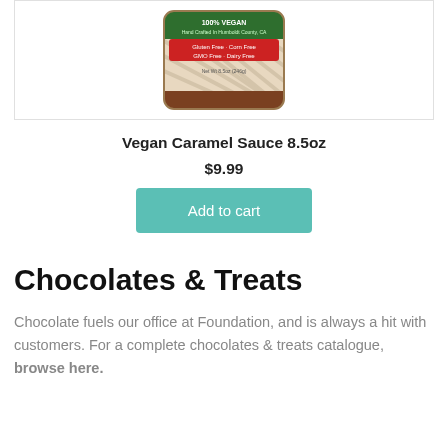[Figure (photo): Partial view of a jar of Vegan Caramel Sauce with a label reading 100% Vegan, Hand Crafted in Humboldt County CA, Gluten Free, Corn Free, GMO Free, Dairy Free, Net Wt 8.5oz (246g)]
Vegan Caramel Sauce 8.5oz
$9.99
Add to cart
Chocolates & Treats
Chocolate fuels our office at Foundation, and is always a hit with customers. For a complete chocolates & treats catalogue, browse here.